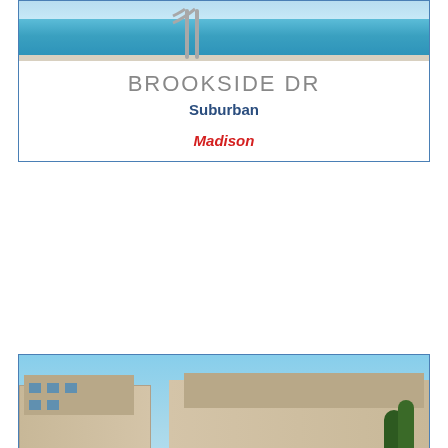[Figure (photo): Top of pool photo, partially visible, showing blue pool water and metal rails]
BROOKSIDE DR
Suburban
Madison
[Figure (photo): Outdoor swimming pool surrounded by lounge chairs with multi-story apartment buildings in background under blue sky]
BEAR CLAW
Corporate Housing